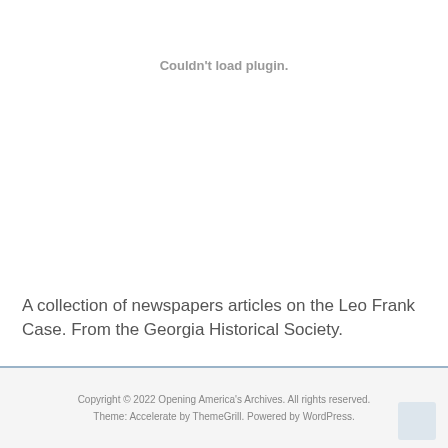Couldn't load plugin.
A collection of newspapers articles on the Leo Frank Case. From the Georgia Historical Society.
Copyright © 2022 Opening America's Archives. All rights reserved.
Theme: Accelerate by ThemeGrill. Powered by WordPress.